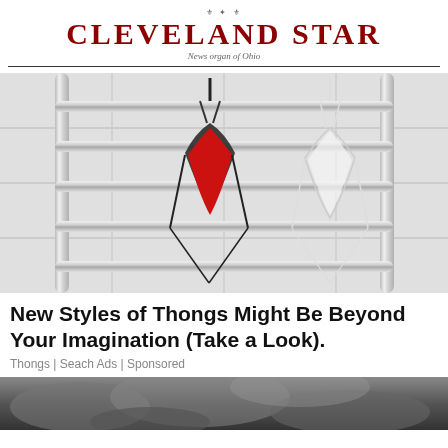CLEVELAND STAR
News organ of Ohio
[Figure (photo): Two thongs (one black/red, one white lace) hanging on a chrome towel rail rack against a white tiled wall.]
New Styles of Thongs Might Be Beyond Your Imagination (Take a Look).
Thongs | Seach Ads | Sponsored
[Figure (photo): Partial view of a dark smoky or cloudy outdoor scene, cut off at bottom of page.]